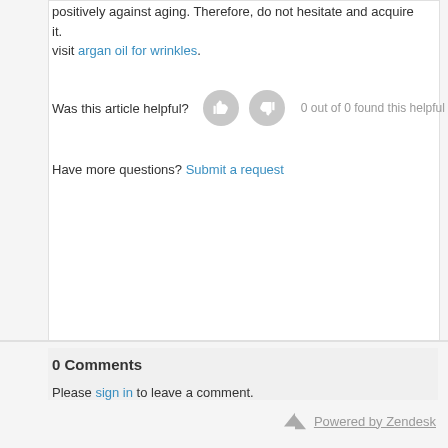positively against aging. Therefore, do not hesitate and acquire it. visit argan oil for wrinkles.
Was this article helpful? 0 out of 0 found this helpful
Have more questions? Submit a request
0 Comments
Please sign in to leave a comment.
Powered by Zendesk